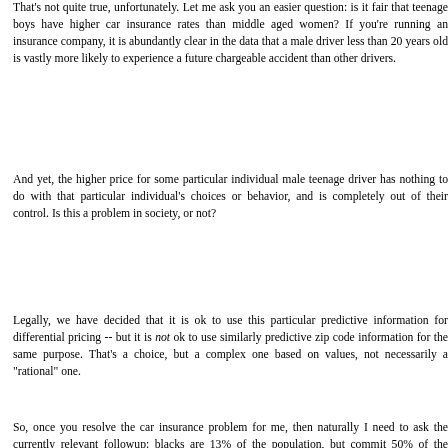That's not quite true, unfortunately. Let me ask you an easier question: is it fair that teenage boys have higher car insurance rates than middle aged women? If you're running an insurance company, it is abundantly clear in the data that a male driver less than 20 years old is vastly more likely to experience a future chargeable accident than other drivers.
And yet, the higher price for some particular individual male teenage driver has nothing to do with that particular individual's choices or behavior, and is completely out of their control. Is this a problem in society, or not?
Legally, we have decided that it is ok to use this particular predictive information for differential pricing -- but it is not ok to use similarly predictive zip code information for the same purpose. That's a choice, but a complex one based on values, not necessarily a "rational" one.
So, once you resolve the car insurance problem for me, then naturally I need to ask the currently relevant followup: blacks are 13% of the population, but commit 50% of the murders. What is the appropriate "rational" response that...